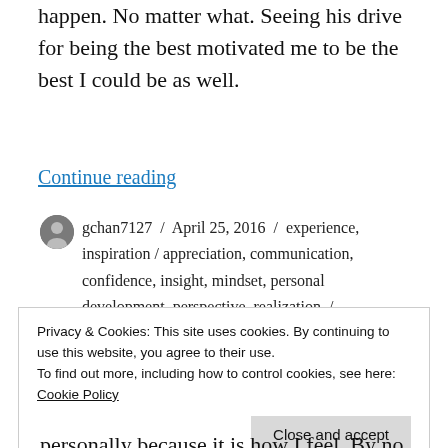happen. No matter what. Seeing his drive for being the best motivated me to be the best I could be as well.
Continue reading
gchan7127 / April 25, 2016 / experience, inspiration / appreciation, communication, confidence, insight, mindset, personal development, perspective, realization / 12 Comments
Privacy & Cookies: This site uses cookies. By continuing to use this website, you agree to their use.
To find out more, including how to control cookies, see here: Cookie Policy
Close and accept
personally because it is how I feel. By no means